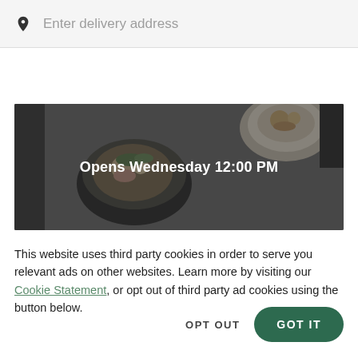Enter delivery address
[Figure (photo): Food delivery app banner showing bowls of food with a dark overlay and text 'Opens Wednesday 12:00 PM']
This website uses third party cookies in order to serve you relevant ads on other websites. Learn more by visiting our Cookie Statement, or opt out of third party ad cookies using the button below.
OPT OUT
GOT IT